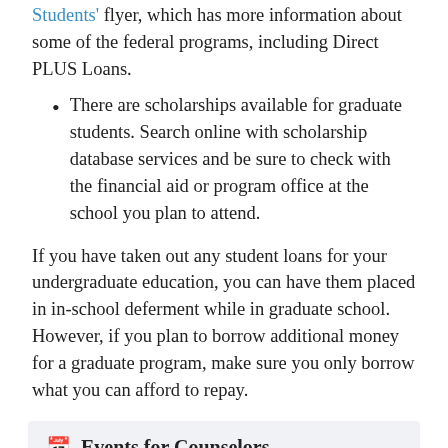Students' flyer, which has more information about some of the federal programs, including Direct PLUS Loans.
There are scholarships available for graduate students. Search online with scholarship database services and be sure to check with the financial aid or program office at the school you plan to attend.
If you have taken out any student loans for your undergraduate education, you can have them placed in in-school deferment while in graduate school. However, if you plan to borrow additional money for a graduate program, make sure you only borrow what you can afford to repay.
Events for Counselors
Gettysburg High School Financial Aid Night
Tuesday, September 6 at 5:30 PM CST